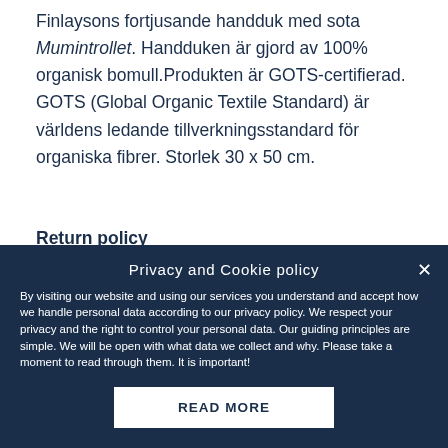Finlaysons fortjusande handduk med sota Mumintrollet. Handduken är gjord av 100% organisk bomull.Produkten är GOTS-certifierad. GOTS (Global Organic Textile Standard) är världens ledande tillverkningsstandard för organiska fibrer. Storlek 30 x 50 cm.
Return policy
We hope that you are delighted with the Moomin products that you have ordered. If, however, any items supplied by us did not suit your needs and were not custom-made or
Privacy and Cookie policy
By visiting our website and using our services you understand and accept how we handle personal data according to our privacy policy. We respect your privacy and the right to control your personal data. Our guiding principles are simple. We will be open with what data we collect and why. Please take a moment to read through them. It is important!
READ MORE